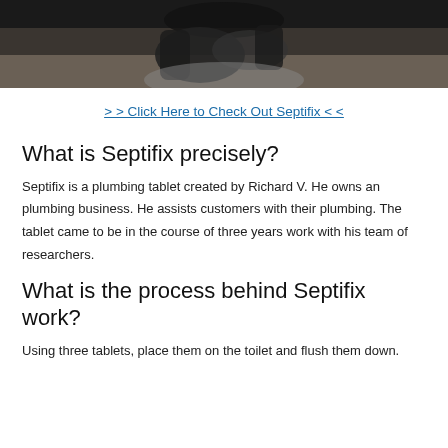[Figure (photo): A person in dark clothing holding objects, photographed from above/mid angle against a light background]
> > Click Here to Check Out Septifix < <
What is Septifix precisely?
Septifix is a plumbing tablet created by Richard V. He owns an plumbing business. He assists customers with their plumbing. The tablet came to be in the course of three years work with his team of researchers.
What is the process behind Septifix work?
Using three tablets, place them on the toilet and flush them down.